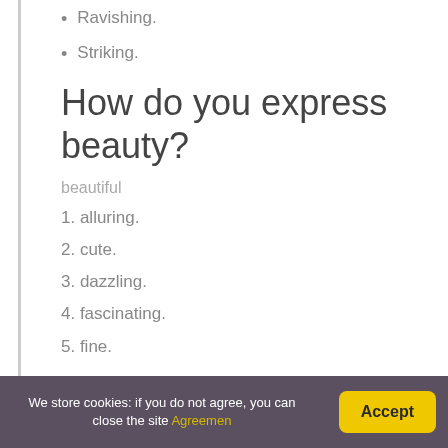Ravishing.
Striking.
How do you express beauty?
beautiful
1. alluring.
2. cute.
3. dazzling.
4. fascinating.
5. fine.
We store cookies: if you do not agree, you can close the site Agreement